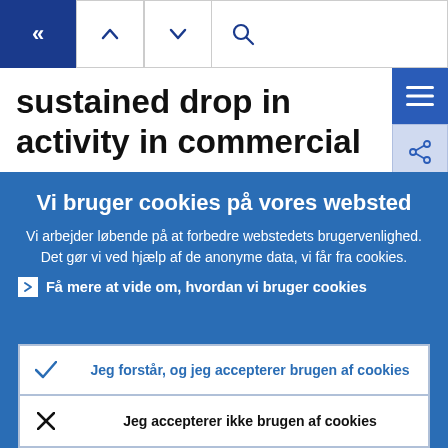[Figure (screenshot): Navigation bar with back button (blue), up/down arrow buttons, and search icon]
sustained drop in activity in commercial real estate (CRE) markets, with a disproportionate drop in activity by more
Vi bruger cookies på vores websted
Vi arbejder løbende på at forbedre webstedets brugervenlighed. Det gør vi ved hjælp af de anonyme data, vi får fra cookies.
Få mere at vide om, hvordan vi bruger cookies
Jeg forstår, og jeg accepterer brugen af cookies
Jeg accepterer ikke brugen af cookies